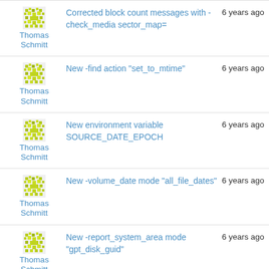Thomas Schmitt | Corrected block count messages with -check_media sector_map= | 6 years ago
Thomas Schmitt | New -find action "set_to_mtime" | 6 years ago
Thomas Schmitt | New environment variable SOURCE_DATE_EPOCH | 6 years ago
Thomas Schmitt | New -volume_date mode "all_file_dates" | 6 years ago
Thomas Schmitt | New -report_system_area mode "gpt_disk_guid" | 6 years ago
Thomas Schmitt | Corrected interpretation of RFC 4122 UUID strings for GPT. Thanks Androi... | 6 years ago